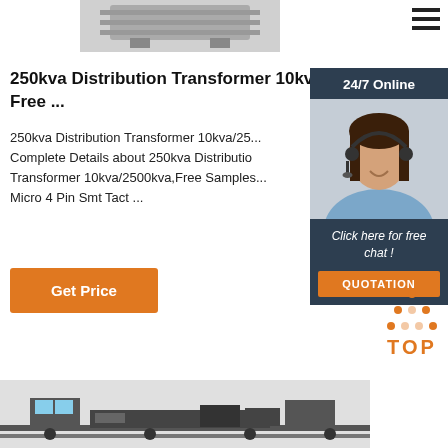[Figure (photo): Top product image - industrial transformer or pallet, partially visible at top of page]
[Figure (screenshot): Hamburger menu icon (three horizontal lines) in top right corner]
250kva Distribution Transformer 10kva/25... Free ...
250kva Distribution Transformer 10kva/25... Complete Details about 250kva Distribution Transformer 10kva/2500kva,Free Samples... Micro 4 Pin Smt Tact ...
[Figure (screenshot): Get Price orange button]
[Figure (photo): Sidebar: 24/7 Online header with dark navy background, photo of smiling woman with headset, Click here for free chat text, QUOTATION orange button]
[Figure (logo): TOP icon with orange dot triangle pattern above the word TOP in orange]
[Figure (photo): Bottom product image showing industrial equipment on a conveyor or rail system]